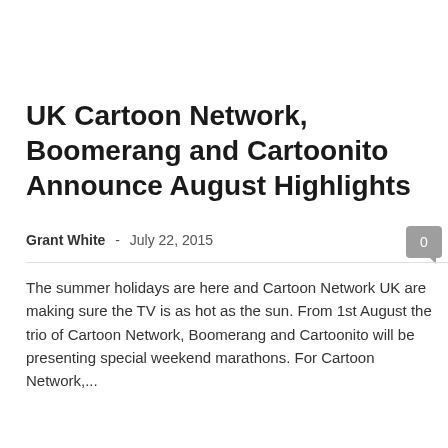UK Cartoon Network, Boomerang and Cartoonito Announce August Highlights
Grant White  -  July 22, 2015
The summer holidays are here and Cartoon Network UK are making sure the TV is as hot as the sun. From 1st August the trio of Cartoon Network, Boomerang and Cartoonito will be presenting special weekend marathons. For Cartoon Network,...